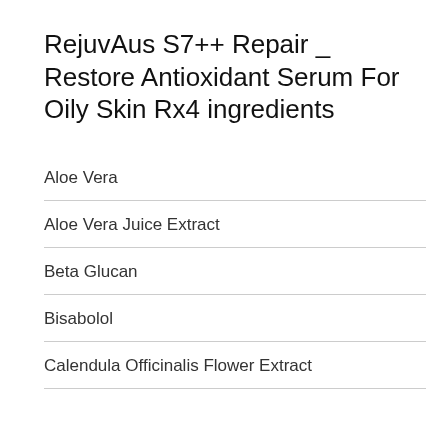RejuvAus S7++ Repair _ Restore Antioxidant Serum For Oily Skin Rx4 ingredients
Aloe Vera
Aloe Vera Juice Extract
Beta Glucan
Bisabolol
Calendula Officinalis Flower Extract